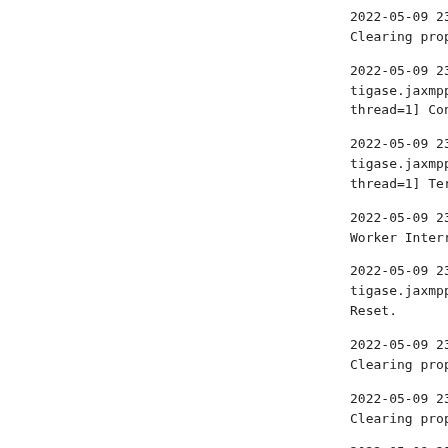2022-05-09 23:04:06 | ti
Clearing properties in s
2022-05-09 23:04:06 |
tigase.jaxmpp.j2se.conne
thread=1] Connector sta
2022-05-09 23:04:06 |
tigase.jaxmpp.j2se.conne
thread=1] Terminating XM
2022-05-09 23:04:06 | ti
Worker Interrupted
2022-05-09 23:04:06 |
tigase.jaxmpp.core.clien
Reset.
2022-05-09 23:04:06 | ti
Clearing properties in s
2022-05-09 23:04:07 | ti
Clearing properties in s
2022-05-09 23:04:07 | ti
cr=true